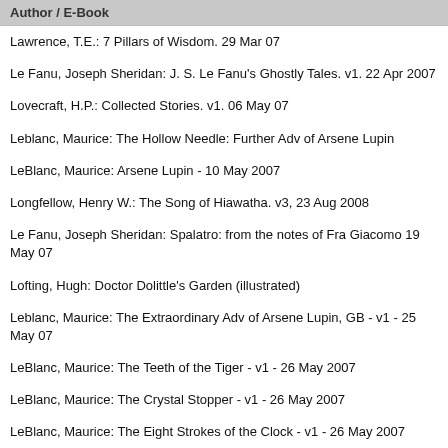Author / E-Book
Lawrence, T.E.: 7 Pillars of Wisdom. 29 Mar 07
Le Fanu, Joseph Sheridan: J. S. Le Fanu's Ghostly Tales. v1. 22 Apr 2007
Lovecraft, H.P.: Collected Stories. v1. 06 May 07
Leblanc, Maurice: The Hollow Needle: Further Adv of Arsene Lupin
LeBlanc, Maurice: Arsene Lupin - 10 May 2007
Longfellow, Henry W.: The Song of Hiawatha. v3, 23 Aug 2008
Le Fanu, Joseph Sheridan: Spalatro: from the notes of Fra Giacomo 19 May 07
Lofting, Hugh: Doctor Dolittle's Garden (illustrated)
Leblanc, Maurice: The Extraordinary Adv of Arsene Lupin, GB - v1 - 25 May 07
LeBlanc, Maurice: The Teeth of the Tiger - v1 - 26 May 2007
LeBlanc, Maurice: The Crystal Stopper - v1 - 26 May 2007
LeBlanc, Maurice: The Eight Strokes of the Clock - v1 - 26 May 2007
Leverage, Henry: The Gray Brotherhood. v1. 26 May 07
Lesage, Alain-Rene: The Adventures of Gil Blas. v1. 28 May 07